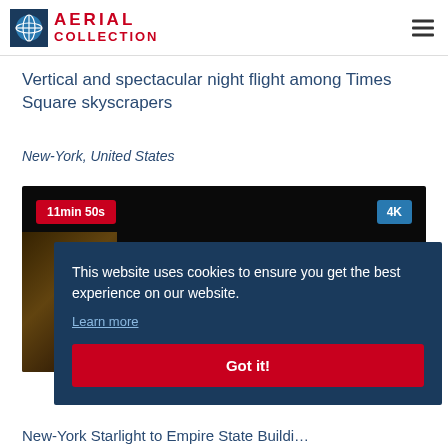[Figure (logo): Aerial Collection logo with globe icon and red text]
Vertical and spectacular night flight among Times Square skyscrapers
New-York, United States
[Figure (screenshot): Video thumbnail showing night aerial footage of New York City with duration badge '11min 50s' and quality badge '4K']
This website uses cookies to ensure you get the best experience on our website.
Learn more
Got it!
New-York Starlight to Empire State Building…